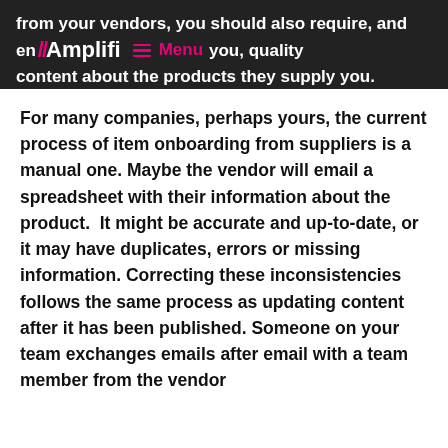from your vendors, you should also require, and ensure your partners to provide you, quality content about the products they supply you.
For many companies, perhaps yours, the current process of item onboarding from suppliers is a manual one. Maybe the vendor will email a spreadsheet with their information about the product.  It might be accurate and up-to-date, or it may have duplicates, errors or missing information. Correcting these inconsistencies follows the same process as updating content after it has been published. Someone on your team exchanges emails after email with a team member from the vendor